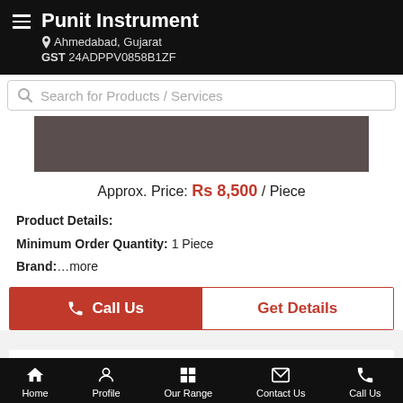Punit Instrument — Ahmedabad, Gujarat — GST 24ADPPV0858B1ZF
Search for Products / Services
[Figure (photo): Product image area (dark brownish rectangle)]
Approx. Price: Rs 8,500 / Piece
Product Details:
Minimum Order Quantity: 1 Piece
Brand: ...more
Call Us
Get Details
Weighing Scale With Billing Solutions
Home | Profile | Our Range | Contact Us | Call Us